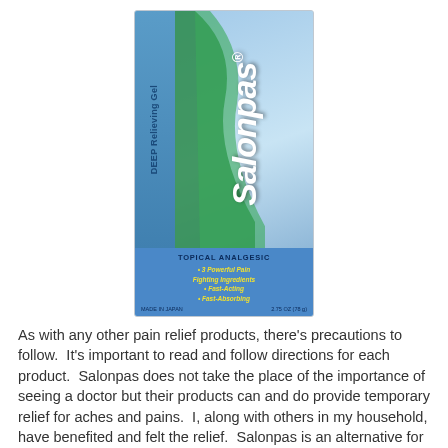[Figure (photo): Salonpas Deep Relieving Gel product box. Blue and green packaging. Topical Analgesic. 3 Powerful Pain Fighting Ingredients, Fast-Acting, Fast-Absorbing. 2.75 OZ (78g).]
As with any other pain relief products, there's precautions to follow.  It's important to read and follow directions for each product.  Salonpas does not take the place of the importance of seeing a doctor but their products can and do provide temporary relief for aches and pains.  I, along with others in my household, have benefited and felt the relief.  Salonpas is an alternative for pain sufferers who prefer to avoid the use of oral OTC pain relief medication labeled for only minor aches and pains. Unlike an oral medication, the active